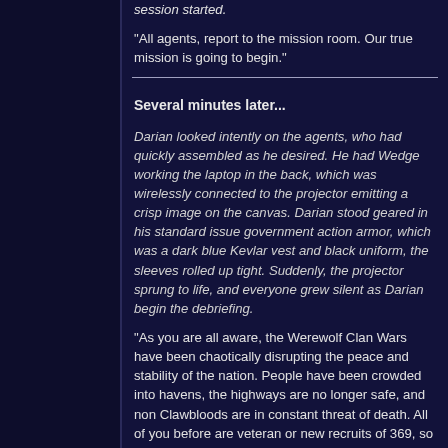session started.
"All agents, report to the mission room. Our true mission is going to begin."
Several minutes later...
Darian looked intently on the agents, who had quickly assembled as he desired. He had Wedge working the laptop in the back, which was wirelessly connected to the projector emitting a crisp image on the canvas. Darian stood geared in his standard issue government action armor, which was a dark blue Kevlar vest and black uniform, the sleeves rolled up tight. Suddenly, the projector sprung to life, and everyone grew silent as Darian begin the debriefing.
"As you are all aware, the Werewolf Clan Wars have been chaotically disrupting the peace and stability of the nation. People have been crowded into havens, the highways are no longer safe, and non Clawbloods are in constant threat of death. All of you before are veteran or new recruits of 369, so you have been recognized of being able to hold your own in combat as well as have at least a vague desire to protect the innocent. Well, here is the chance of a